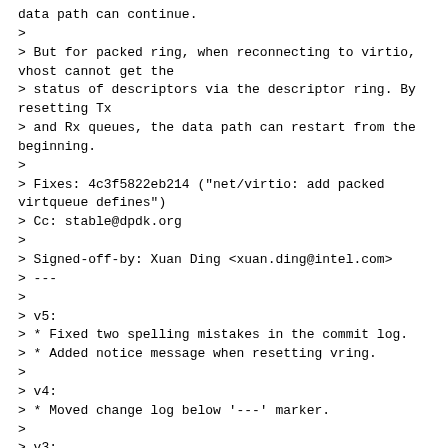data path can continue.
>
> But for packed ring, when reconnecting to virtio, vhost cannot get the
> status of descriptors via the descriptor ring. By resetting Tx
> and Rx queues, the data path can restart from the beginning.
>
> Fixes: 4c3f5822eb214 ("net/virtio: add packed virtqueue defines")
> Cc: stable@dpdk.org
>
> Signed-off-by: Xuan Ding <xuan.ding@intel.com>
> ---
>
> v5:
> * Fixed two spelling mistakes in the commit log.
> * Added notice message when resetting vring.
>
> v4:
> * Moved change log below '---' marker.
>
> v3:
> * Removed an extra asterisk from a comment.
> * Renamed device reset function and moved it to virtio_user_ethdev.c.
>
> v2:
> * Renamed queue reset functions and moved them to